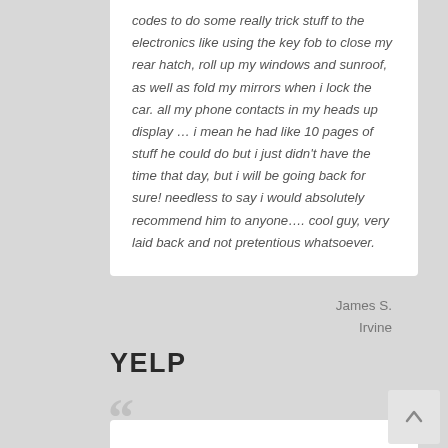codes to do some really trick stuff to the electronics like using the key fob to close my rear hatch, roll up my windows and sunroof, as well as fold my mirrors when i lock the car. all my phone contacts in my heads up display … i mean he had like 10 pages of stuff he could do but i just didn't have the time that day, but i will be going back for sure! needless to say i would absolutely recommend him to anyone…. cool guy, very laid back and not pretentious whatsoever.
James S.
Irvine
YELP
[Figure (other): Large decorative quotation mark in gray]